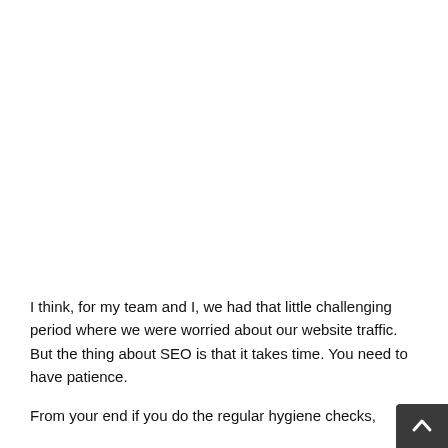I think, for my team and I, we had that little challenging period where we were worried about our website traffic. But the thing about SEO is that it takes time. You need to have patience.
From your end if you do the regular hygiene checks,